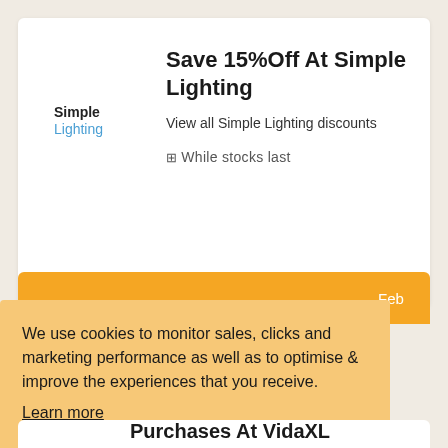Save 15%Off At Simple Lighting
View all Simple Lighting discounts
While stocks last
We use cookies to monitor sales, clicks and marketing performance as well as to optimise & improve the experiences that you receive.
Learn more
GOT IT!
Purchases At VidaXL